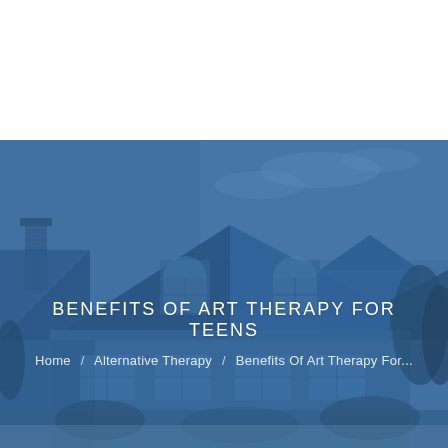[Figure (photo): A large residential house with blue-tinted overlay. The house features multiple gabled roofs, arched windows, brick chimney on the left, and is surrounded by trees. The entire image has a blue color wash/overlay giving it a cohesive blue tone. The lower portion shows the front facade with dormer windows and an attached garage area.]
BENEFITS OF ART THERAPY FOR TEENS
Home / Alternative Therapy / Benefits Of Art Therapy For...